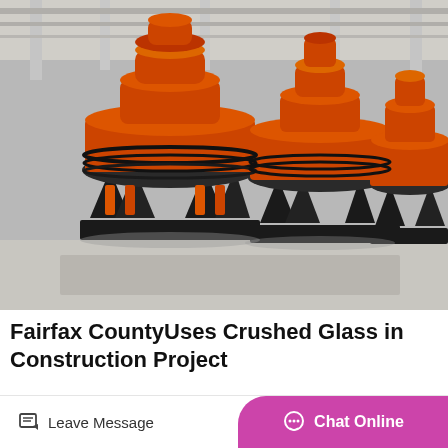[Figure (photo): Industrial cone crushers painted orange/red sitting on black metal bases inside a factory warehouse. Multiple large cone-shaped grinding machines arranged in a row.]
Fairfax CountyUses Crushed Glass in Construction Project
The crushed glass has been tested and approved for construction uses, such as bedding and fill in the Flatlick Branch sanitary sewer replacement project. Crushing…